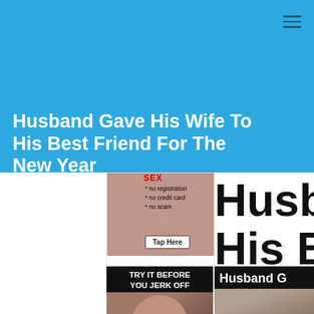Husband Gave His Wife To His Best Friend For The New Year
Husband Gave His Wife To His Best Friend For The New Year
[Figure (screenshot): Advertisement banner with 'SEX' label, bullet points '* no registration * no credit card * no scam', and a 'Tap Here' button]
[Figure (screenshot): Advertisement: 'TRY IT BEFORE YOU JERK OFF' with photo, 'GET LAID NOW', 'VIEW PHOTOS' in red]
[Figure (screenshot): Partially visible large text 'Husba... His Bes...' in black]
[Figure (screenshot): Bottom right card showing 'Husband G...' text overlay on dark background with person holding a flower]